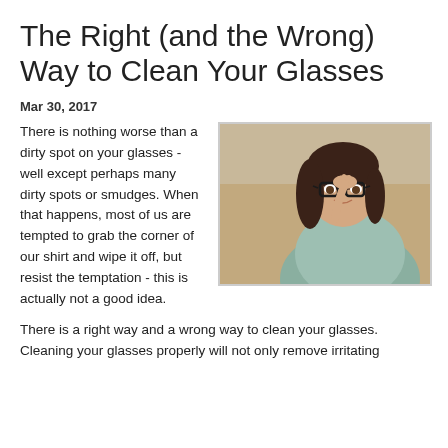The Right (and the Wrong) Way to Clean Your Glasses
Mar 30, 2017
[Figure (photo): A young woman with dark hair smiling and holding the frame of her black-rimmed glasses, wearing a light grey top, against a warm beige background.]
There is nothing worse than a dirty spot on your glasses - well except perhaps many dirty spots or smudges. When that happens, most of us are tempted to grab the corner of our shirt and wipe it off, but resist the temptation - this is actually not a good idea.
There is a right way and a wrong way to clean your glasses. Cleaning your glasses properly will not only remove irritating